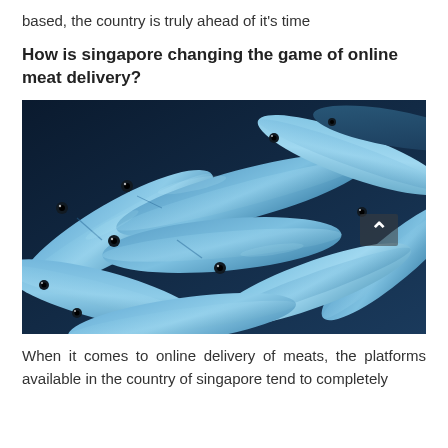based, the country is truly ahead of it's time
How is singapore changing the game of online meat delivery?
[Figure (photo): A pile of fresh blue-silver fish (sardines or mackerel), closely packed together, photographed from above with a dark background.]
When it comes to online delivery of meats, the platforms available in the country of singapore tend to completely